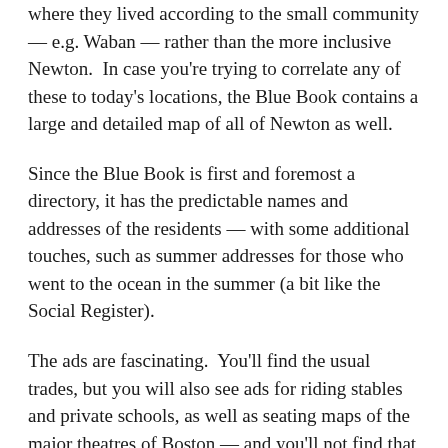where they lived according to the small community — e.g. Waban — rather than the more inclusive Newton.  In case you're trying to correlate any of these to today's locations, the Blue Book contains a large and detailed map of all of Newton as well.
Since the Blue Book is first and foremost a directory, it has the predictable names and addresses of the residents — with some additional touches, such as summer addresses for those who went to the ocean in the summer (a bit like the Social Register).
The ads are fascinating.  You'll find the usual trades, but you will also see ads for riding stables and private schools, as well as seating maps of the major theatres of Boston — and you'll not find that in many other municipal directories of the era!
If this sounds interesting, you can CLICK HERE to